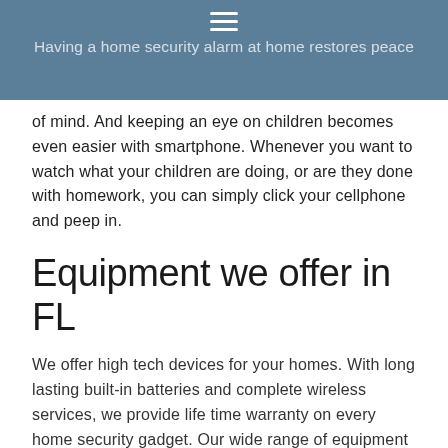Having a home security alarm at home restores peace of mind.
of mind. And keeping an eye on children becomes even easier with smartphone. Whenever you want to watch what your children are doing, or are they done with homework, you can simply click your cellphone and peep in.
Equipment we offer in FL
We offer high tech devices for your homes. With long lasting built-in batteries and complete wireless services, we provide life time warranty on every home security gadget. Our wide range of equipment makes it possible for homeowners to customize their security system package according to their needs. We ensure you better connectivity and better protection.
We...